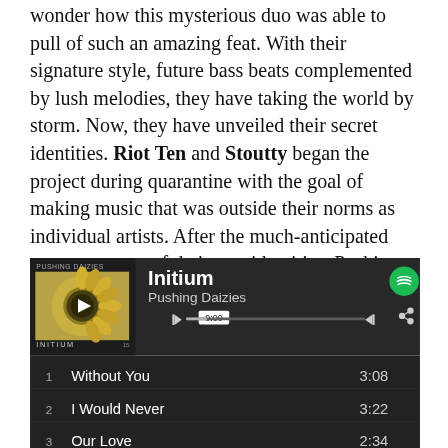wonder how this mysterious duo was able to pull of such an amazing feat. With their signature style, future bass beats complemented by lush melodies, they have taking the world by storm. Now, they have unveiled their secret identities. Riot Ten and Stoutty began the project during quarantine with the goal of making music that was outside their norms as individual artists. After the much-anticipated announcement of their true identities, Pushing Daizies officially release their first full-length body of work with their Initium album out on Dim Mak.
[Figure (screenshot): Spotify player widget showing the album 'Initium' by Pushing Daizies with track list including: 1 Without You 3:08, 2 I Would Never 3:22, 3 Our Love 2:34, 4 (partially visible)]